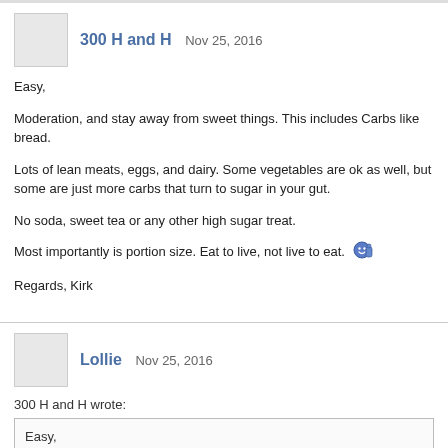300 H and H   Nov 25, 2016
Easy,
Moderation, and stay away from sweet things. This includes Carbs like bread.
Lots of lean meats, eggs, and dairy. Some vegetables are ok as well, but some are just more carbs that turn to sugar in your gut.
No soda, sweet tea or any other high sugar treat.
Most importantly is portion size. Eat to live, not live to eat. 🙂👍
Regards, Kirk
Lollie   Nov 25, 2016
300 H and H wrote:
Easy,

Moderation, and stay away from sweet things. This includes Carbs...